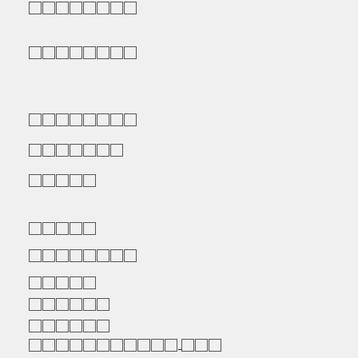▪▪▪▪▪▪▪▪
▪▪▪▪▪▪▪▪
▪▪▪▪▪▪▪▪
▪▪▪▪▪▪▪
▪▪▪▪▪
▪▪▪▪▪
▪▪▪▪▪▪▪▪
▪▪▪▪▪
▪▪▪▪▪▪
▪▪▪▪▪▪
▪▪▪▪▪▪▪▪▪▪▪ ▪▪▪
▪▪▪▪▪
▪▪▪▪▪ ▪▪▪▪▪▪▪▪▪